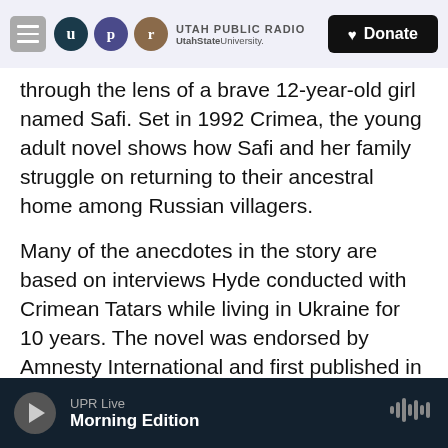UTAH PUBLIC RADIO | UtahState University. | Donate
through the lens of a brave 12-year-old girl named Safi. Set in 1992 Crimea, the young adult novel shows how Safi and her family struggle on returning to their ancestral home among Russian villagers.
Many of the anecdotes in the story are based on interviews Hyde conducted with Crimean Tatars while living in Ukraine for 10 years. The novel was endorsed by Amnesty International and first published in the U.K. in 2008, then translated into French (2011), Crimean Tatar (2013) and most recently Ukrainian (2014).
UPR Live | Morning Edition